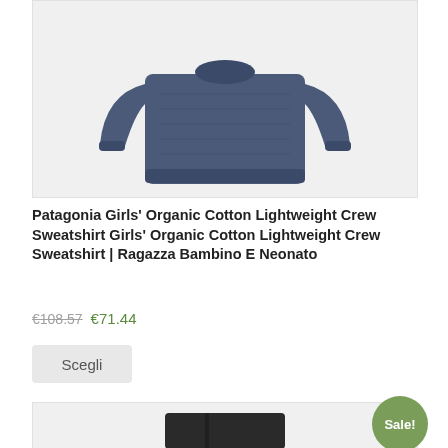[Figure (photo): Photo of a navy blue Patagonia Girls' Organic Cotton Lightweight Crew Sweatshirt on white background]
Patagonia Girls' Organic Cotton Lightweight Crew Sweatshirt Girls' Organic Cotton Lightweight Crew Sweatshirt | Ragazza Bambino E Neonato
€108.57 €71.44
Scegli
[Figure (photo): Partial view of another product image at the bottom of the page, with a Sale! badge overlay]